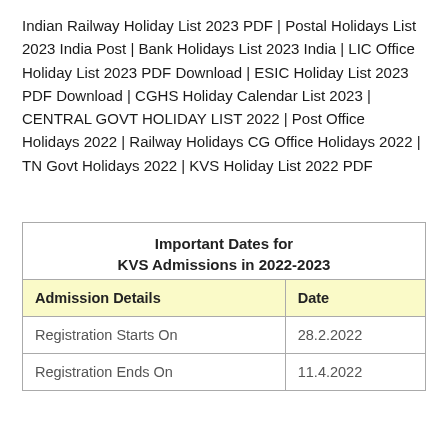Indian Railway Holiday List 2023 PDF | Postal Holidays List 2023 India Post | Bank Holidays List 2023 India | LIC Office Holiday List 2023 PDF Download | ESIC Holiday List 2023 PDF Download | CGHS Holiday Calendar List 2023 | CENTRAL GOVT HOLIDAY LIST 2022 | Post Office Holidays 2022 | Railway Holidays CG Office Holidays 2022 | TN Govt Holidays 2022 | KVS Holiday List 2022 PDF
| Admission Details | Date |
| --- | --- |
| Registration Starts On | 28.2.2022 |
| Registration Ends On | 11.4.2022 |